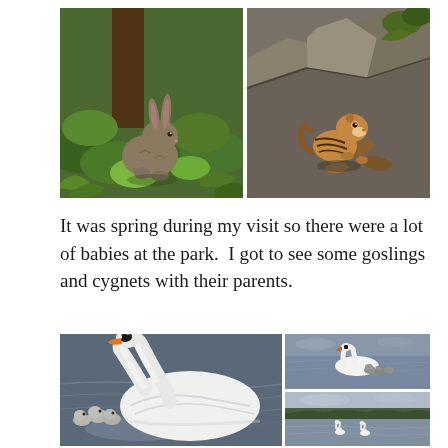[Figure (photo): Two wildlife photos side by side: left shows a wild rabbit (cottontail) in green forest undergrowth, right shows a chipmunk on rocky surface with leaves]
It was spring during my visit so there were a lot of babies at the park.  I got to see some goslings and cygnets with their parents.
[Figure (photo): Three photos of swans: large photo on left shows a mute swan with cygnets close up on water, top right shows a swan with cygnets from a distance, bottom right shows a wide lake view with swans in the distance]